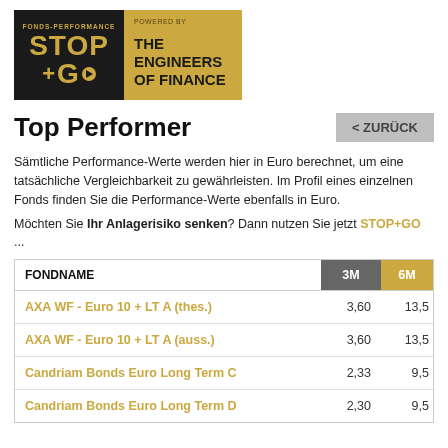[Figure (logo): STOP+GO Fonds-Performance logo (black background, gold text) next to 'THE ENGINEERS OF FINANCE' (gold background, black text) with POWERED BY label]
Top Performer
Sämtliche Performance-Werte werden hier in Euro berechnet, um eine tatsächliche Vergleichbarkeit zu gewährleisten. Im Profil eines einzelnen Fonds finden Sie die Performance-Werte ebenfalls in Euro.
Möchten Sie Ihr Anlagerisiko senken? Dann nutzen Sie jetzt STOP+GO ...
| FONDNAME | 3M | 6M |
| --- | --- | --- |
| AXA WF - Euro 10 + LT A (thes.) | 3,60 | 13,5 |
| AXA WF - Euro 10 + LT A (auss.) | 3,60 | 13,5 |
| Candriam Bonds Euro Long Term C | 2,33 | 9,5 |
| Candriam Bonds Euro Long Term D | 2,30 | 9,5 |